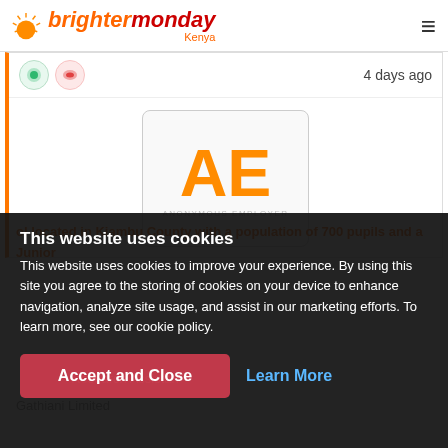brightermonday Kenya
[Figure (logo): Anonymous Employer logo with orange AE letters]
4 days ago
This website uses cookies of located in Kiambu County with a population of 700 pupils and a Junior
This website uses cookies to improve your experience. By using this site you agree to the storing of cookies on your device to enhance navigation, analyze site usage, and assist in our marketing efforts. To learn more, see our cookie policy.
Accept and Close
Learn More
Research Assistan
Gathiani Limited